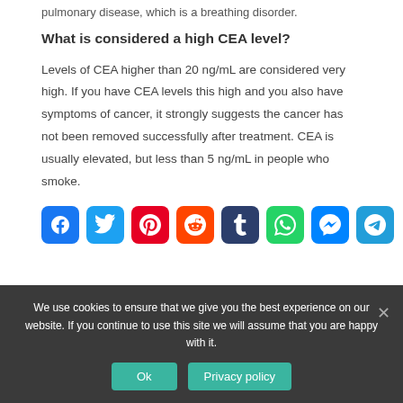pulmonary disease, which is a breathing disorder.
What is considered a high CEA level?
Levels of CEA higher than 20 ng/mL are considered very high. If you have CEA levels this high and you also have symptoms of cancer, it strongly suggests the cancer has not been removed successfully after treatment. CEA is usually elevated, but less than 5 ng/mL in people who smoke.
[Figure (other): Social media sharing icons: Facebook, Twitter, Pinterest, Reddit, Tumblr, WhatsApp, Messenger, Telegram]
We use cookies to ensure that we give you the best experience on our website. If you continue to use this site we will assume that you are happy with it.